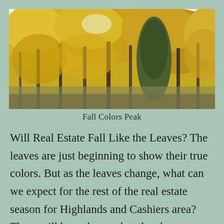[Figure (photo): Autumn forest scene with tall trees displaying yellow, orange, and gold fall foliage against a pale sky. Dense canopy of colorful leaves fills the frame.]
Fall Colors Peak
Will Real Estate Fall Like the Leaves? The leaves are just beginning to show their true colors. But as the leaves change, what can we expect for the rest of the real estate season for Highlands and Cashiers area? There will be a change, but the change appears to be normal. Something like... See Continue reading...